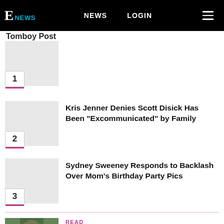E! NEWS  NEWS  LOGIN
Tomboy Post
1. Kris Jenner Denies Scott Disick Has Been "Excommunicated" by Family
2. Kris Jenner Denies Scott Disick Has Been "Excommunicated" by Family
3. Sydney Sweeney Responds to Backlash Over Mom's Birthday Party Pics
READ
Reza Farahan Teases Shahs of